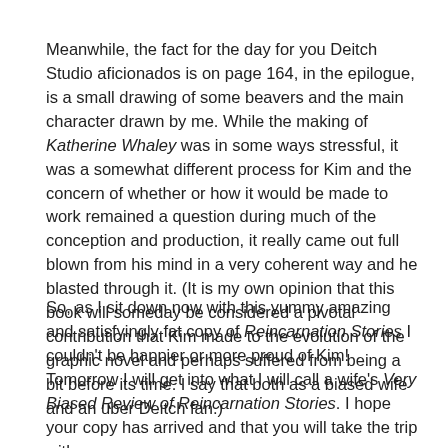Meanwhile, the fact for the day for you Deitch Studio aficionados is on page 164, in the epilogue, is a small drawing of some beavers and the main character drawn by me. While the making of Katherine Whaley was in some ways stressful, it was a somewhat different process for Kim and the concern of whether or how it would be made to work remained a question during much of the conception and production, it really came out full blown from his mind in a very coherent way and he blasted through it. (It is my own opinion that this book will someday be considered a pivotal contribution that Kim made to the evolution of the graphic novel and perhaps suffered from being a bit before its time. I say that both as a biased wife and an uber Deitch fan.)
So, as I sit down now with this yummy amazing and satisfyingly fat copy of Reincarnation Stories I couldn't be happier or more proud of Kim! Tomorrow I will get into what I will call a wife's Very Biased Review of Reincarnation Stories. I hope your copy has arrived and that you will take the trip with me.